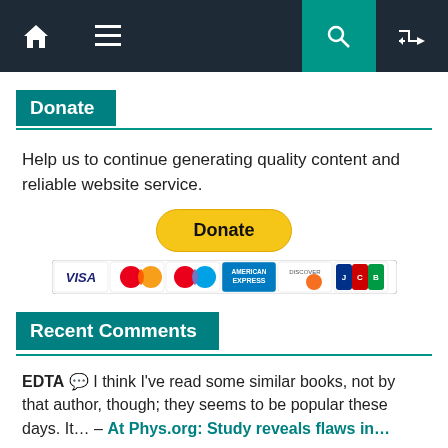Navigation bar with home, menu, search, shuffle icons
Donate
Help us to continue generating quality content and reliable website service.
[Figure (other): PayPal Donate button with credit card icons (Visa, Mastercard, Maestro, Amex, Discover, JCB)]
Recent Comments
EDTA 💬 I think I've read some similar books, not by that author, though; they seems to be popular these days. It… – At Phys.org: Study reveals flaws in…
chuckdarwin 💬 Relatd/168 Like I said, it's a big world out there and most of it is not Christian……… – At Big